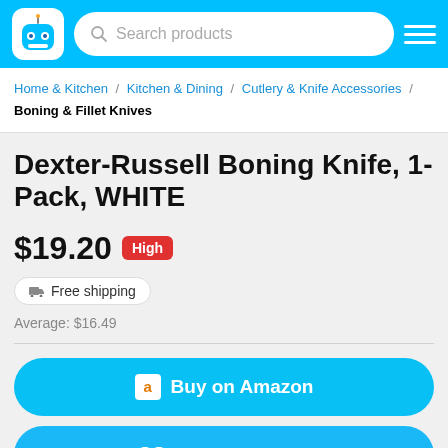Search products
Home & Kitchen / Kitchen & Dining / Cutlery & Knife Accessories / Boning & Fillet Knives
Dexter-Russell Boning Knife, 1-Pack, WHITE
$19.20 High
Free shipping
Average: $16.49
Buy on Amazon
Start Watching